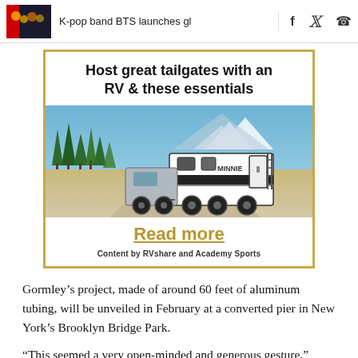K-pop band BTS launches gl
[Figure (photo): Advertisement with gold border: 'Host great tailgates with an RV & these essentials' with photo of a white RV trailer being towed, Read more link, Content by RVshare and Academy Sports]
Gormley’s project, made of around 60 feet of aluminum tubing, will be unveiled in February at a converted pier in New York’s Brooklyn Bridge Park.
"This seemed a very open-minded and generous gesture,"